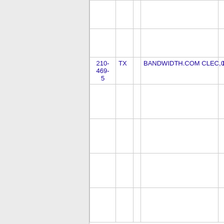|  |  |  |  |  |  |
| --- | --- | --- | --- | --- | --- |
| 210-469-5 | TX |  | BANDWIDTH.COM CLEC, LLC - TX | 004F | SA |